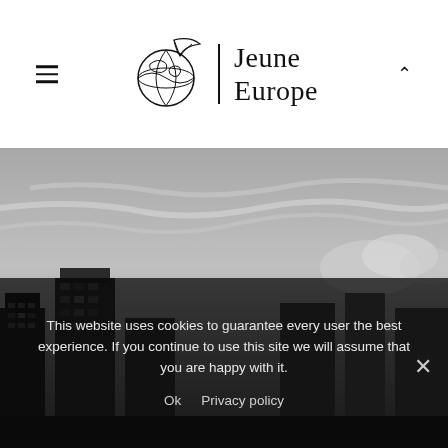[Figure (logo): Jeune Europe logo: globe with feather/quill, vertical bar, and text 'Jeune Europe' in serif font]
[Figure (photo): Black and white cityscape photograph showing tall buildings/skyscrapers against a dramatic cloudy sky]
This website uses cookies to guarantee every user the best experience. If you continue to use this site we will assume that you are happy with it.
Ok   Privacy policy